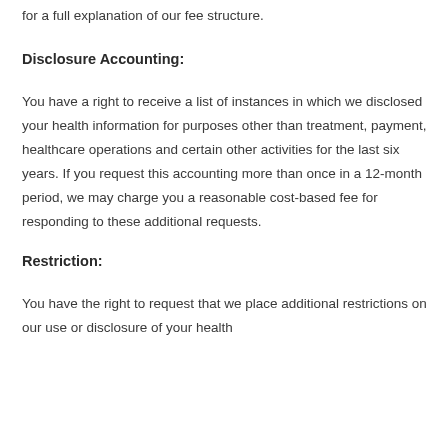for a full explanation of our fee structure.
Disclosure Accounting:
You have a right to receive a list of instances in which we disclosed your health information for purposes other than treatment, payment, healthcare operations and certain other activities for the last six years. If you request this accounting more than once in a 12-month period, we may charge you a reasonable cost-based fee for responding to these additional requests.
Restriction:
You have the right to request that we place additional restrictions on our use or disclosure of your health